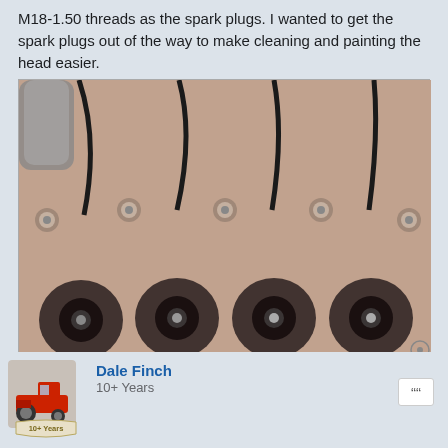M18-1.50 threads as the spark plugs. I wanted to get the spark plugs out of the way to make cleaning and painting the head easier.
[Figure (photo): Close-up photograph of an engine cylinder head showing four spark plug holes with plugs or inserts installed, along with bolts and ignition wires visible on top of the head.]
We probably won't get much done next weekend as that is my Wife's favorite holiday, Tree Getting Day! We make a day of getting the Christmas Tree, so not much Cub work planned. But at least Christmas Break is right around the corner.
Dale Finch
10+ Years